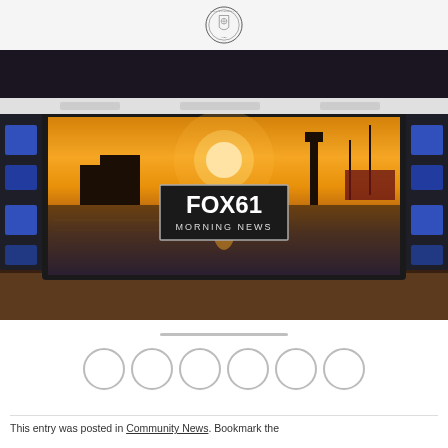Town seal header
[Figure (photo): FOX61 Morning News TV studio set with large screen displaying a harbor sunset scene and the FOX61 Morning News logo]
[Figure (infographic): Row of six social media share buttons (circles)]
This entry was posted in Community News. Bookmark the